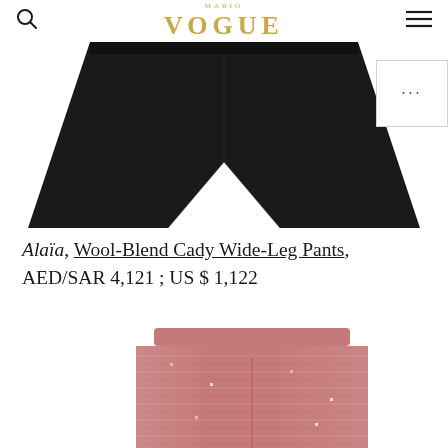VOGUE
[Figure (photo): Close-up bottom portion of black wide-leg pants on white background, showing the flared hem and waist area in black fabric]
Alaïa, Wool-Blend Cady Wide-Leg Pants, AED/SAR 4,121 ; US $ 1,122
[Figure (photo): Pink sequined/embellished wide-leg pants or skirt with metallic shimmer in pink and red tones, photographed on white background showing waist and upper portion]